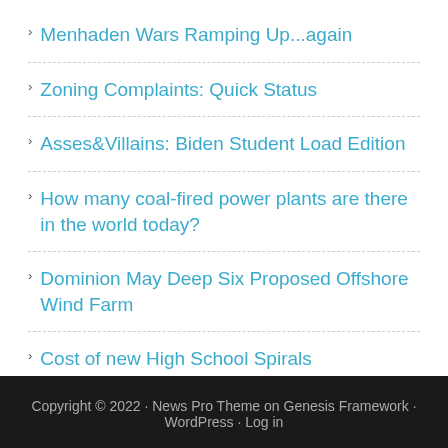Menhaden Wars Ramping Up...again
Zoning Complaints: Quick Status
Asses&Villains: Biden Student Load Edition
How many coal-fired power plants are there in the world today?
Dominion May Deep Six Proposed Offshore Wind Farm
Cost of new High School Spirals
Copyright © 2022 · News Pro Theme on Genesis Framework · WordPress · Log in